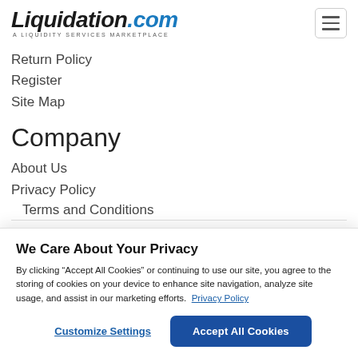[Figure (logo): Liquidation.com logo with tagline 'A LIQUIDITY SERVICES MARKETPLACE']
Return Policy
Register
Site Map
Company
About Us
Privacy Policy
Terms and Conditions
We Care About Your Privacy
By clicking “Accept All Cookies” or continuing to use our site, you agree to the storing of cookies on your device to enhance site navigation, analyze site usage, and assist in our marketing efforts.  Privacy Policy
Customize Settings
Accept All Cookies